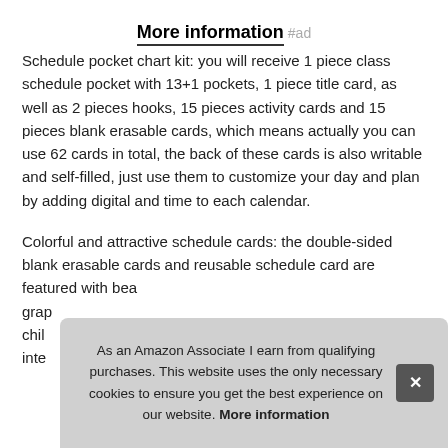More information #ad
Schedule pocket chart kit: you will receive 1 piece class schedule pocket with 13+1 pockets, 1 piece title card, as well as 2 pieces hooks, 15 pieces activity cards and 15 pieces blank erasable cards, which means actually you can use 62 cards in total, the back of these cards is also writable and self-filled, just use them to customize your day and plan by adding digital and time to each calendar.
Colorful and attractive schedule cards: the double-sided blank erasable cards and reusable schedule card are featured with bea... grap... chil... inte...
As an Amazon Associate I earn from qualifying purchases. This website uses the only necessary cookies to ensure you get the best experience on our website. More information